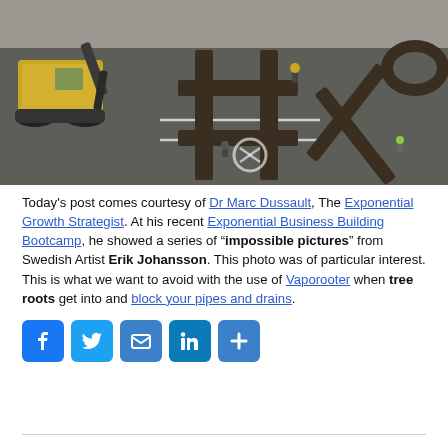[Figure (photo): Aerial view of a construction excavator and workers on a road/parking area, with large tic-tac-toe symbols (X and O) formed in the earth/pavement by digging. The scene is photographed from above in muted tones.]
Today's post comes courtesy of Dr Marc Dussault, The Exponential Growth Strategist. At his recent Exponential Business Building Bootcamp, he showed a series of “impossible pictures” from Swedish Artist Erik Johansson. This photo was of particular interest. This is what we want to avoid with the use of Vaporooter when tree roots get into and block your pipes and drains.
[Figure (infographic): Social sharing buttons: Facebook (blue F), Twitter (blue bird), Email (blue envelope), LinkedIn (blue in), More/Share (blue plus)]